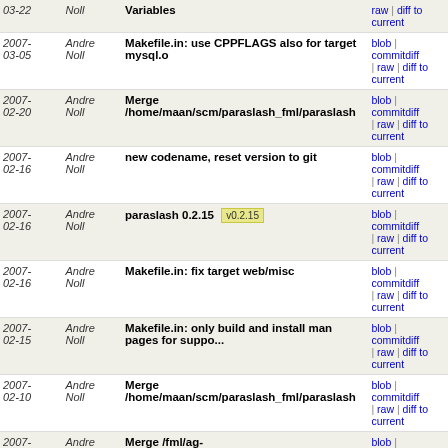| Date | Author | Commit message | Links |
| --- | --- | --- | --- |
| 2007-03-22 | Andre Noll | Variables | blob | commitdiff | raw | diff to current |
| 2007-03-05 | Andre Noll | Makefile.in: use CPPFLAGS also for target mysql.o | blob | commitdiff | raw | diff to current |
| 2007-02-20 | Andre Noll | Merge /home/maan/scm/paraslash_fml/paraslash | blob | commitdiff | raw | diff to current |
| 2007-02-16 | Andre Noll | new codename, reset version to git | blob | commitdiff | raw | diff to current |
| 2007-02-16 | Andre Noll | paraslash 0.2.15 [v0.2.15] | blob | commitdiff | raw | diff to current |
| 2007-02-16 | Andre Noll | Makefile.in: fix target web/misc | blob | commitdiff | raw | diff to current |
| 2007-02-15 | Andre Noll | Makefile.in: only build and install man pages for suppo... | blob | commitdiff | raw | diff to current |
| 2007-02-10 | Andre Noll | Merge /home/maan/scm/paraslash_fml/paraslash | blob | commitdiff | raw | diff to current |
| 2007-02-06 | Andre Noll | Merge /fml/ag-raetsch/home/maan/scm/paraslash_meins... | blob | commitdiff | raw | diff to current |
| 2007-02-04 | Andre Noll | use own version handler for all commands. | blob | commitdiff | raw | diff to current |
| 2007-02-02 | Andre Noll | Merge ../paraslash_meins/paraslash | blob | commitdiff | raw | diff to current |